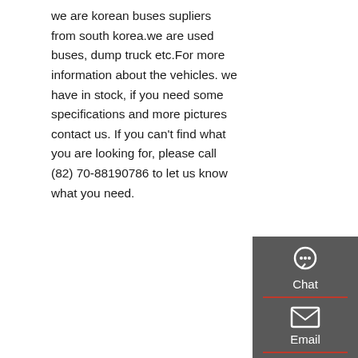we are korean buses supliers from south korea.we are used buses, dump truck etc.For more information about the vehicles. we have in stock, if you need some specifications and more pictures contact us. If you can&#039;t find what you are looking for, please call (82) 70-88190786 to let us know what you need.
[Figure (other): Orange 'Get a Quote' button]
[Figure (other): Dark sidebar with Chat, Email, Contact, Top icons]
[Figure (photo): Underside/chassis view of a vehicle showing suspension, axle, and mechanical components]